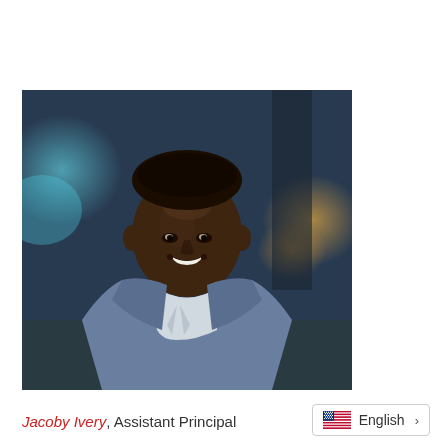[Figure (photo): Professional headshot of Jacoby Ivery, a young Black man wearing a light blue suit and white shirt, smiling, with a blurred outdoor background featuring teal and amber bokeh lights.]
Jacoby Ivery, Assistant Principal
English